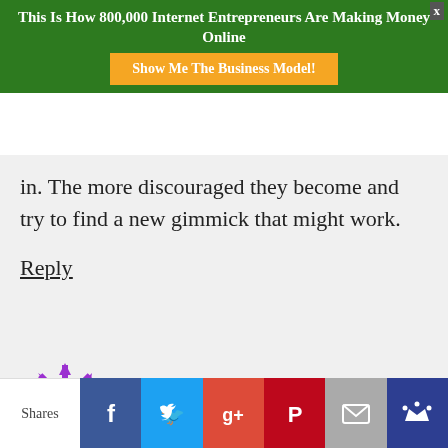[Figure (screenshot): Green ad banner at top with title 'This Is How 800,000 Internet Entrepreneurs Are Making Money Online' and orange CTA button 'Show Me The Business Model!']
in. The more discouraged they become and try to find a new gimmick that might work.
Reply
[Figure (illustration): Purple snowflake/avatar icon for user Bernard]
Bernard
July 16, 2016 at 4:44 am
Why would the store owner be mad? He makes a percentage of the winnings and his store is
[Figure (infographic): Social share bar at bottom with Facebook, Twitter, Google+, Pinterest, Email, and crown icon buttons. Shares label on left.]